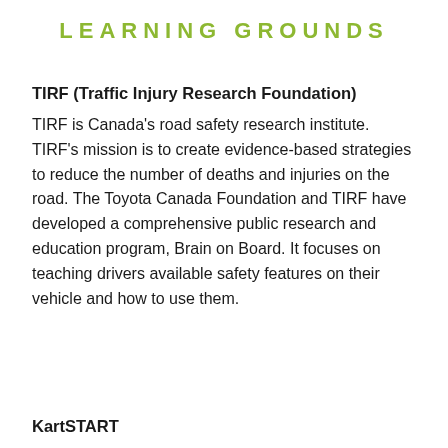LEARNING GROUNDS
TIRF (Traffic Injury Research Foundation)
TIRF is Canada's road safety research institute. TIRF's mission is to create evidence-based strategies to reduce the number of deaths and injuries on the road. The Toyota Canada Foundation and TIRF have developed a comprehensive public research and education program, Brain on Board. It focuses on teaching drivers available safety features on their vehicle and how to use them.
KartSTART